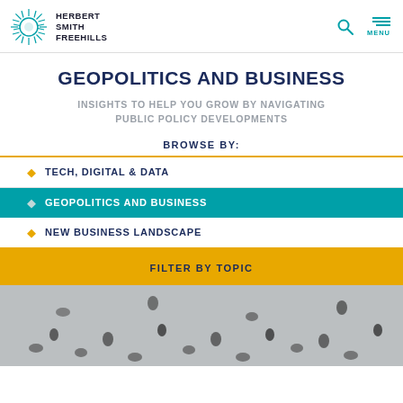HERBERT SMITH FREEHILLS
GEOPOLITICS AND BUSINESS
INSIGHTS TO HELP YOU GROW BY NAVIGATING PUBLIC POLICY DEVELOPMENTS
BROWSE BY:
TECH, DIGITAL & DATA
GEOPOLITICS AND BUSINESS
NEW BUSINESS LANDSCAPE
FILTER BY TOPIC
[Figure (photo): Aerial view of people walking on a street, seen from above]